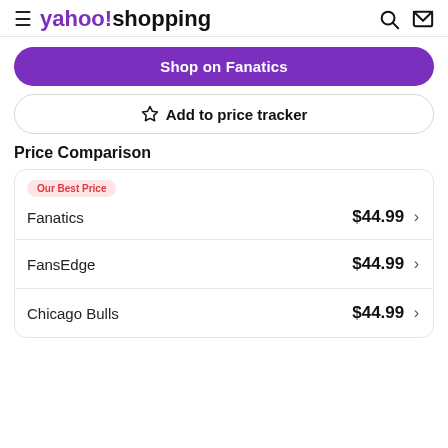yahoo!shopping
Shop on Fanatics
☆ Add to price tracker
Price Comparison
| Retailer | Price |
| --- | --- |
| Fanatics | $44.99 |
| FansEdge | $44.99 |
| Chicago Bulls | $44.99 |